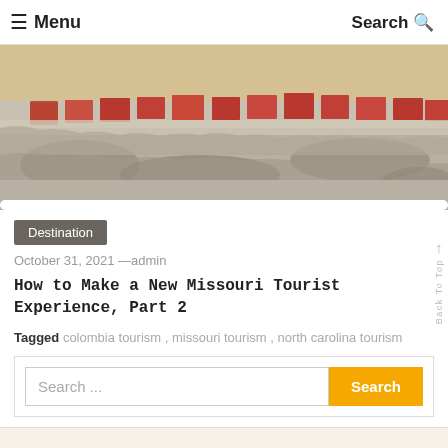≡ Menu   Search 🔍
[Figure (photo): Close-up photograph of a weathered brick and stone wall or architectural feature, showing aged red bricks set into crumbling white/grey mortar or concrete, with a rough textured surface.]
Destination
October 31, 2021 —admin
How to Make a New Missouri Tourist Experience, Part 2
Tagged  colombia tourism ,  missouri tourism ,  north carolina tourism
Search ...  Search